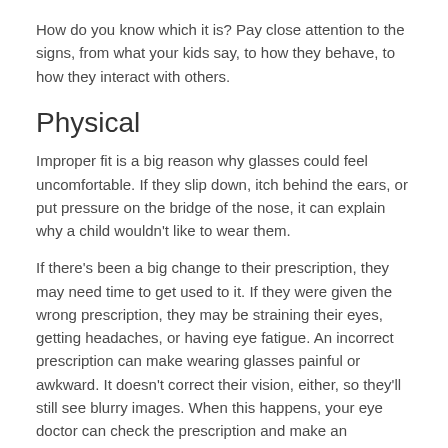How do you know which it is? Pay close attention to the signs, from what your kids say, to how they behave, to how they interact with others.
Physical
Improper fit is a big reason why glasses could feel uncomfortable. If they slip down, itch behind the ears, or put pressure on the bridge of the nose, it can explain why a child wouldn't like to wear them.
If there's been a big change to their prescription, they may need time to get used to it. If they were given the wrong prescription, they may be straining their eyes, getting headaches, or having eye fatigue. An incorrect prescription can make wearing glasses painful or awkward. It doesn't correct their vision, either, so they'll still see blurry images. When this happens, your eye doctor can check the prescription and make an adjustment.
Emotional
Your kids at home aren't the same as your kids in school, on the